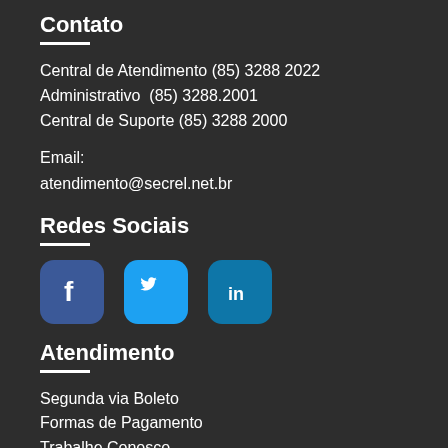Contato
Central de Atendimento (85) 3288 2022
Administrativo  (85) 3288.2001
Central de Suporte (85) 3288 2000
Email:
atendimento@secrel.net.br
Redes Sociais
[Figure (illustration): Three social media icons: Facebook (dark blue), Twitter (light blue), LinkedIn (dark cyan), each with rounded square shape.]
Atendimento
Segunda via Boleto
Formas de Pagamento
Trabalhe Conosco
Contato